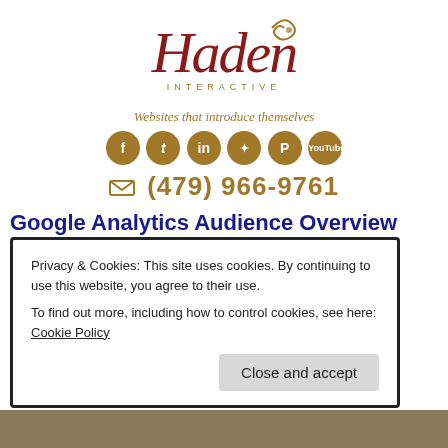[Figure (logo): Haden Interactive logo with decorative script wordmark in dark red and INTERACTIVE subtitle in gold, with swirl ornament]
Websites that introduce themselves
[Figure (infographic): Six gold circular social media icons: Facebook, Twitter, LinkedIn, a star/app icon, Pinterest, YouTube]
(479) 966-9761
Google Analytics Audience Overview
Posted on February 9, 2018
by Rebecca Haden
Privacy & Cookies: This site uses cookies. By continuing to use this website, you agree to their use.
To find out more, including how to control cookies, see here: Cookie Policy
Close and accept